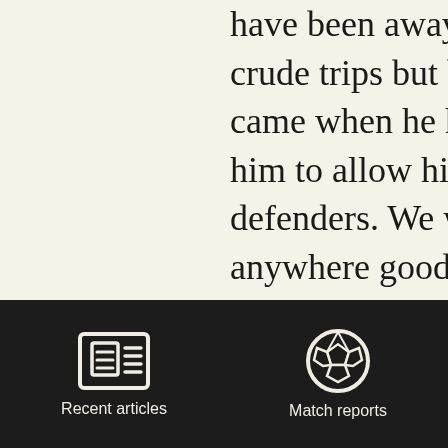have been away were not crude trips but both the came when he had the him to allow him to sp defenders. We will not anywhere good next se repeat the sight of Did trying to out jump def Thorne, Topp and Bro should all be in the squ season as McCall starts
[Figure (infographic): Dark footer bar with two navigation icons and labels: a newspaper icon labeled 'Recent articles' and a soccer ball icon labeled 'Match reports']